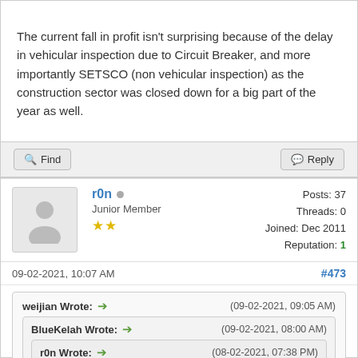The current fall in profit isn't surprising because of the delay in vehicular inspection due to Circuit Breaker, and more importantly SETSCO (non vehicular inspection) as the construction sector was closed down for a big part of the year as well.
Find | Reply
r0n | Junior Member | Posts: 37 | Threads: 0 | Joined: Dec 2011 | Reputation: 1
09-02-2021, 10:07 AM | #473
weijian Wrote: → (09-02-2021, 09:05 AM)
BlueKelah Wrote: → (09-02-2021, 08:00 AM)
r0n Wrote: → (08-02-2021, 07:38 PM)